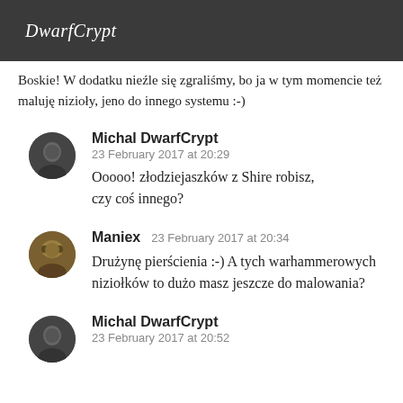DwarfCrypt
Boskie! W dodatku nieźle się zgraliśmy, bo ja w tym momencie też maluję nizioły, jeno do innego systemu :-)
Michal DwarfCrypt
23 February 2017 at 20:29
Ooooo! złodziejaszków z Shire robisz, czy coś innego?
Maniex  23 February 2017 at 20:34
Drużynę pierścienia :-) A tych warhammerowych niziołków to dużo masz jeszcze do malowania?
Michal DwarfCrypt
23 February 2017 at 20:52